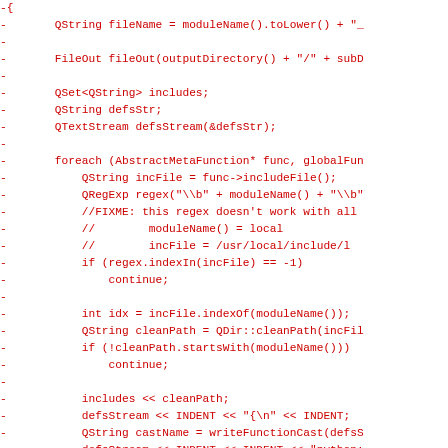[Figure (other): Diff view of C++ source code showing deleted lines (prefixed with minus sign) in red monospace font. Lines show code related to file writing operations, includes, QTextStream, foreach loop with AbstractMetaFunction, regex, file path processing, and defsStream operations.]